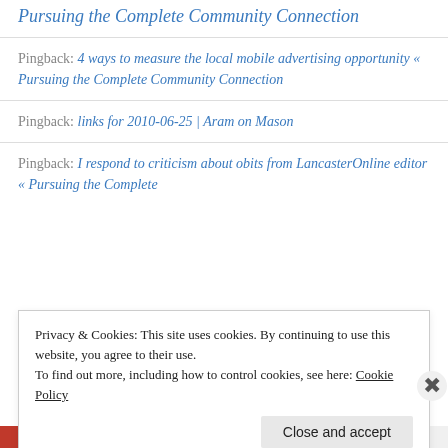Pursuing the Complete Community Connection
Pingback: 4 ways to measure the local mobile advertising opportunity « Pursuing the Complete Community Connection
Pingback: links for 2010-06-25 | Aram on Mason
Pingback: I respond to criticism about obits from LancasterOnline editor « Pursuing the Complete
Privacy & Cookies: This site uses cookies. By continuing to use this website, you agree to their use.
To find out more, including how to control cookies, see here: Cookie Policy
Close and accept